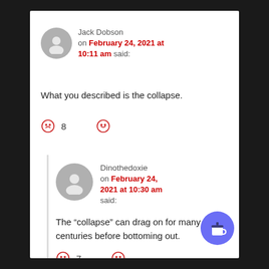Jack Dobson on February 24, 2021 at 10:11 am said:
What you described is the collapse.
☺ 8  ☹
Dinothedoxie on February 24, 2021 at 10:30 am said:
The “collapse” can drag on for many centuries before bottoming out.
☺ 7  ☹